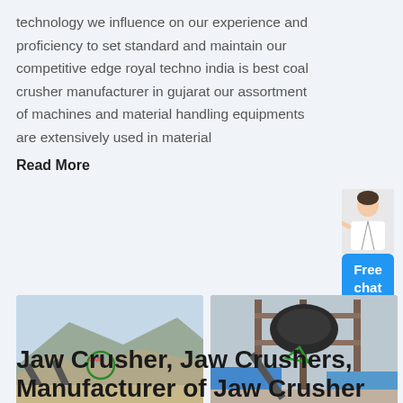technology we influence on our experience and proficiency to set standard and maintain our competitive edge royal techno india is best coal crusher manufacturer in gujarat our assortment of machines and material handling equipments are extensively used in material
Read More
[Figure (photo): Two photos side by side showing industrial crusher/mining equipment at an outdoor quarry site. Left image shows conveyors and crushing equipment with mountains in background. Right image shows a cone crusher or vertical shaft impactor mounted on a steel frame structure.]
Jaw Crusher, Jaw Crushers, Manufacturer of Jaw Crusher